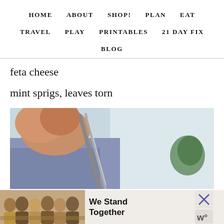HOME  ABOUT  SHOP!  PLAN  EAT  TRAVEL  PLAY  PRINTABLES  21 DAY FIX  BLOG
feta cheese
mint sprigs, leaves torn
[Figure (photo): Close-up photo of a hand holding a fork over a plate, with a blurred green herb leaf visible in the background against a light blue/white background]
[Figure (photo): Advertisement banner: group of people with arms around each other seen from behind, with text 'We Stand Together' and close button]